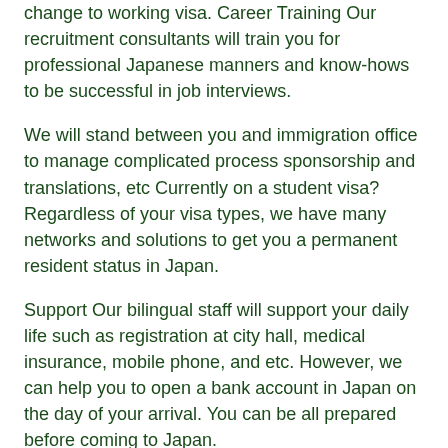change to working visa. Career Training Our recruitment consultants will train you for professional Japanese manners and know-hows to be successful in job interviews.
We will stand between you and immigration office to manage complicated process sponsorship and translations, etc Currently on a student visa? Regardless of your visa types, we have many networks and solutions to get you a permanent resident status in Japan.
Support Our bilingual staff will support your daily life such as registration at city hall, medical insurance, mobile phone, and etc. However, we can help you to open a bank account in Japan on the day of your arrival. You can be all prepared before coming to Japan.
Ad Blocker Detected!